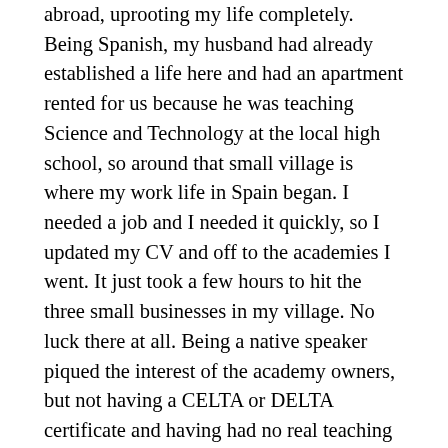abroad, uprooting my life completely. Being Spanish, my husband had already established a life here and had an apartment rented for us because he was teaching Science and Technology at the local high school, so around that small village is where my work life in Spain began. I needed a job and I needed it quickly, so I updated my CV and off to the academies I went. It just took a few hours to hit the three small businesses in my village. No luck there at all. Being a native speaker piqued the interest of the academy owners, but not having a CELTA or DELTA certificate and having had no real teaching experience beforehand (other than a little voluntary ESL teaching to immigrants in Boston), I was not the most hirable person for the position.
We had a car and my husband didn't need it to get to his job at the local school, so I decided to expand outwards. I applied for all the jobs in the local villages and towns and after a week I had a job, albeit a forty-five minute drive away to a seaside village that worked me five days a week for no more than 2 hours at a time each day. Experience is everything in this country, so I